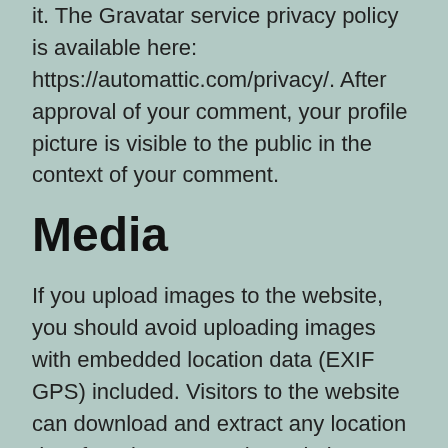it. The Gravatar service privacy policy is available here: https://automattic.com/privacy/. After approval of your comment, your profile picture is visible to the public in the context of your comment.
Media
If you upload images to the website, you should avoid uploading images with embedded location data (EXIF GPS) included. Visitors to the website can download and extract any location data from images on the website.
Cookies